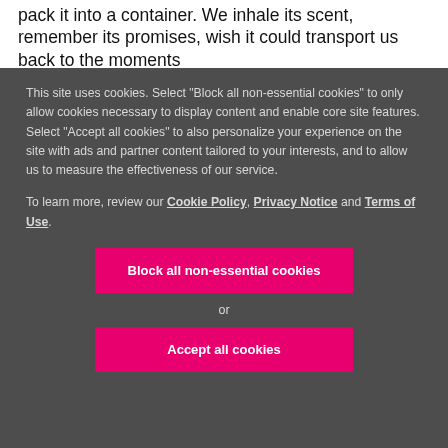pack it into a container. We inhale its scent, remember its promises, wish it could transport us back to the moments
This site uses cookies. Select "Block all non-essential cookies" to only allow cookies necessary to display content and enable core site features. Select "Accept all cookies" to also personalize your experience on the site with ads and partner content tailored to your interests, and to allow us to measure the effectiveness of our service.
To learn more, review our Cookie Policy, Privacy Notice and Terms of Use.
Block all non-essential cookies
or
Accept all cookies